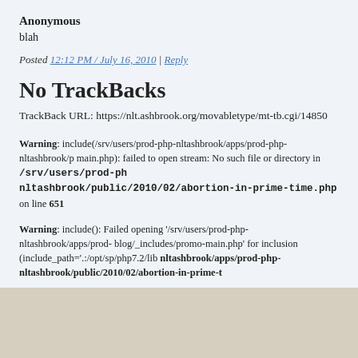Anonymous
blah
Posted 12:12 PM / July 16, 2010 | Reply
No TrackBacks
TrackBack URL: https://nlt.ashbrook.org/movabletype/mt-tb.cgi/14850
Warning: include(/srv/users/prod-php-nltashbrook/apps/prod-php-nltashbrook/p main.php): failed to open stream: No such file or directory in /srv/users/prod-ph nltashbrook/public/2010/02/abortion-in-prime-time.php on line 651
Warning: include(): Failed opening '/srv/users/prod-php-nltashbrook/apps/prod- blog/_includes/promo-main.php' for inclusion (include_path='.:/opt/sp/php7.2/lib nltashbrook/apps/prod-php-nltashbrook/public/2010/02/abortion-in-prime-t